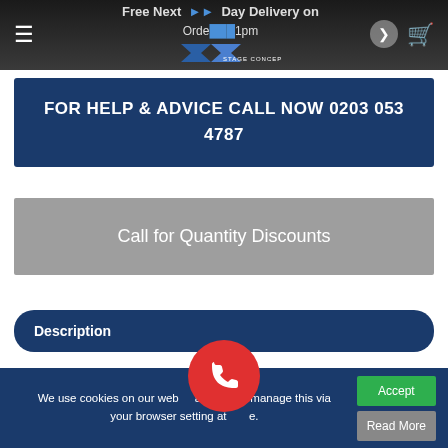[Figure (screenshot): Website header with hamburger menu, 'Free Next Day Delivery on Orders before 1pm' text, Stage Concepts logo, and cart icon on dark background]
FOR HELP & ADVICE CALL NOW 0203 053 4787
Call for Quantity Discounts
Description
Additional information
Reviews (0)
We use cookies on our website. You are free to manage this via your browser settings at any time.